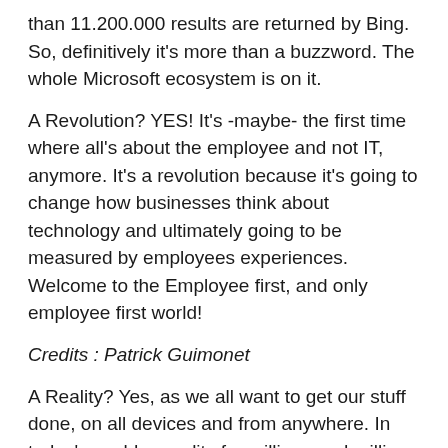than 11.200.000 results are returned by Bing. So, definitively it's more than a buzzword. The whole Microsoft ecosystem is on it.
A Revolution? YES! It's -maybe- the first time where all's about the employee and not IT, anymore. It's a revolution because it's going to change how businesses think about technology and ultimately going to be measured by employees experiences. Welcome to the Employee first, and only employee first world!
Credits : Patrick Guimonet
A Reality? Yes, as we all want to get our stuff done, on all devices and from anywhere. In today's world, a reality for millions and millions of employees who live in their day to day ACTIVITY.